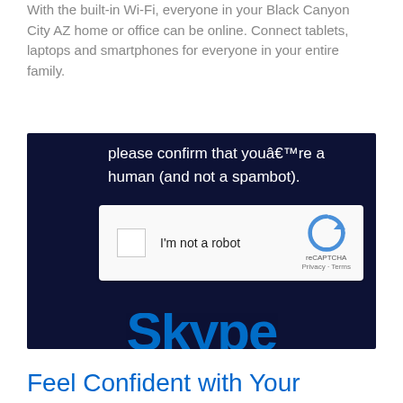With the built-in Wi-Fi, everyone in your Black Canyon City AZ home or office can be online. Connect tablets, laptops and smartphones for everyone in your entire family.
[Figure (screenshot): Screenshot of a CAPTCHA verification dialog on a dark navy background. Text reads 'please confirm that youâ€™re a human (and not a spambot).' with a reCAPTCHA checkbox widget showing 'I'm not a robot' label and the reCAPTCHA logo with Privacy and Terms links.]
Feel Confident with Your